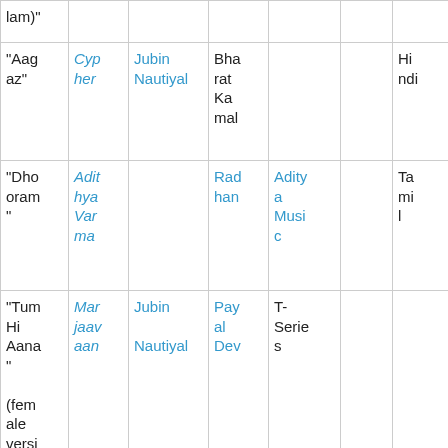| lam)" |  |  |  |  |  |  |
| "Aagaz" | Cypher | Jubin Nautiyal | Bharat Kamal |  |  | Hindi |
| "Dhooram" | Adit hya Var ma |  | Radhan | Aditya Music |  | Tamil |
| "Tum Hi Aana" (female version) | Mar jaav aan | Jubin Nautiyal | Payal Dev | T-Series |  |  |